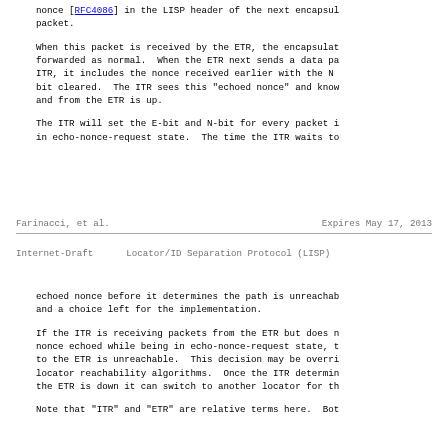nonce [RFC4086] in the LISP header of the next encapsulated packet.
When this packet is received by the ETR, the encapsulated packet is forwarded as normal. When the ETR next sends a data packet to the ITR, it includes the nonce received earlier with the N-bit set and E-bit cleared. The ITR sees this "echoed nonce" and knows the path to and from the ETR is up.
The ITR will set the E-bit and N-bit for every packet it sends while in echo-nonce-request state. The time the ITR waits to
Farinacci, et al.          Expires May 17, 2013
Internet-Draft      Locator/ID Separation Protocol (LISP)
echoed nonce before it determines the path is unreachable is and a choice left for the implementation.
If the ITR is receiving packets from the ETR but does not see its nonce echoed while being in echo-nonce-request state, the path to the ETR is unreachable. This decision may be overridden by other locator reachability algorithms. Once the ITR determines the path to the ETR is down it can switch to another locator for th
Note that "ITR" and "ETR" are relative terms here. Bot